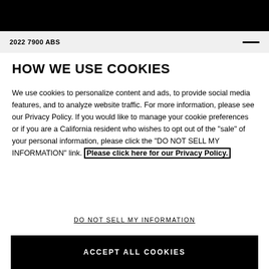2022 7900 ABS
HOW WE USE COOKIES
We use cookies to personalize content and ads, to provide social media features, and to analyze website traffic. For more information, please see our Privacy Policy. If you would like to manage your cookie preferences or if you are a California resident who wishes to opt out of the "sale" of your personal information, please click the "DO NOT SELL MY INFORMATION" link. Please click here for our Privacy Policy.
DO NOT SELL MY INFORMATION
ACCEPT ALL COOKIES